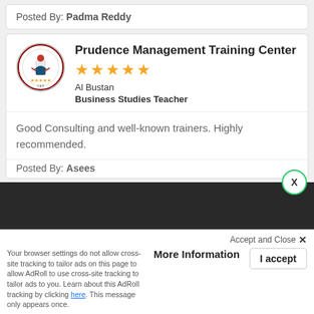Posted By: Padma Reddy
Prudence Management Training Center
★★★★★
Al Bustan
Business Studies Teacher
Good Consulting and well-known trainers. Highly recommended.
Posted By: Asees
We use cookies to help provide you the best experience on our website. By continuing to use our site, you constent to our use of these cookies.
More Information
I accept
Accept and Close ✕
Your browser settings do not allow cross-site tracking to tailor ads on this page to allow AdRoll to use cross-site tracking to tailor ads to you. Learn about this AdRoll tracking by clicking here. This message only appears once.